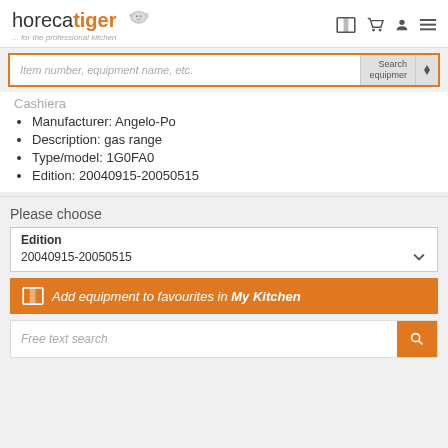[Figure (logo): horecatiger logo with tiger illustration and tagline '... for the professional kitchen']
Item number, equipment name, etc.
Cashiera
Manufacturer: Angelo-Po
Description: gas range
Type/model: 1G0FA0
Edition: 20040915-20050515
Please choose
Edition
20040915-20050515
Add equipment to favourites in My Kitchen
Free text search